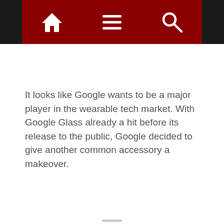Navigation bar with home, menu, and search icons
It looks like Google wants to be a major player in the wearable tech market. With Google Glass already a hit before its release to the public, Google decided to give another common accessory a makeover.